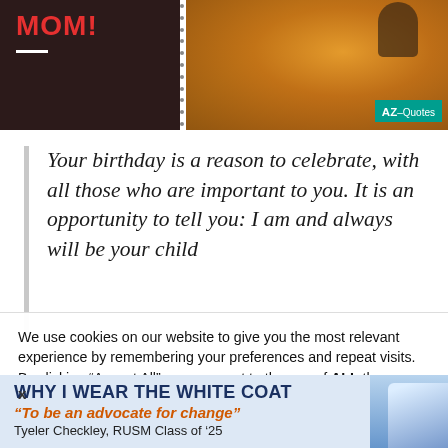[Figure (screenshot): Top section showing dark brown panel with 'MOM!' text in red and white underline on left, and autumn leaves photo on right with AZ-Quotes badge]
Your birthday is a reason to celebrate, with all those who are important to you. It is an opportunity to tell you: I am and always will be your child
We use cookies on our website to give you the most relevant experience by remembering your preferences and repeat visits. By clicking “Accept All", you consent to the use of ALL the cookies. However, you may visit "Cookie Settings" to provide a
X
WHY I WEAR THE WHITE COAT
“To be an advocate for change”
Tyeler Checkley, RUSM Class of ’25